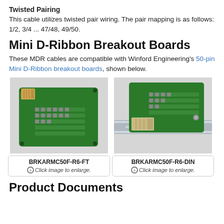Twisted Pairing
This cable utilizes twisted pair wiring. The pair mapping is as follows: 1/2, 3/4 ... 47/48, 49/50.
Mini D-Ribbon Breakout Boards
These MDR cables are compatible with Winford Engineering's 50-pin Mini D-Ribbon breakout boards, shown below.
[Figure (photo): Green PCB breakout board BRKARMC50F-R6-FT with Mini D-Ribbon connector and terminal blocks, flat mount style]
BRKARMC50F-R6-FT
Click image to enlarge.
[Figure (photo): Green PCB breakout board BRKARMC50F-R6-DIN with Mini D-Ribbon connector and terminal blocks, mounted on DIN rail]
BRKARMC50F-R6-DIN
Click image to enlarge.
Product Documents